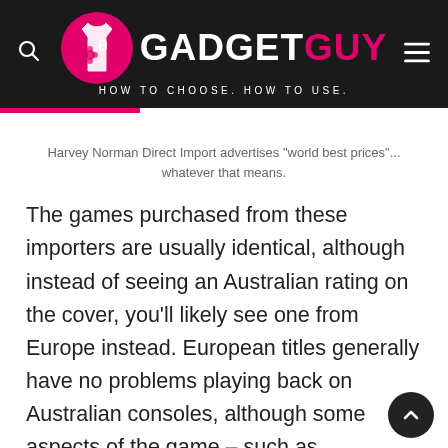[Figure (logo): Gadget Guy logo with pink circle icon, white text GADGET and pink text GUY, tagline HOW TO CHOOSE. HOW TO USE.]
Harvey Norman Direct Import advertises "world best prices"... whatever that means.
The games purchased from these importers are usually identical, although instead of seeing an Australian rating on the cover, you'll likely see one from Europe instead. European titles generally have no problems playing back on Australian consoles, although some aspects of the game – such as downloading extra content – may not work for European titles played on local consoles.